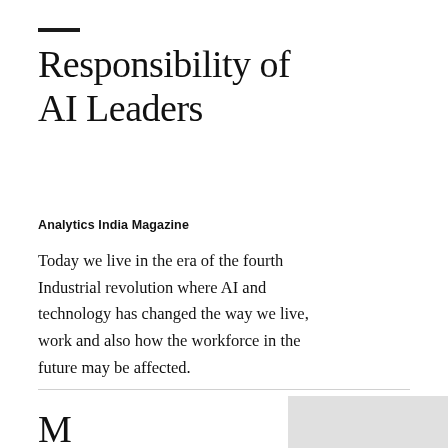Responsibility of AI Leaders
Analytics India Magazine
Today we live in the era of the fourth Industrial revolution where AI and technology has changed the way we live, work and also how the workforce in the future may be affected.